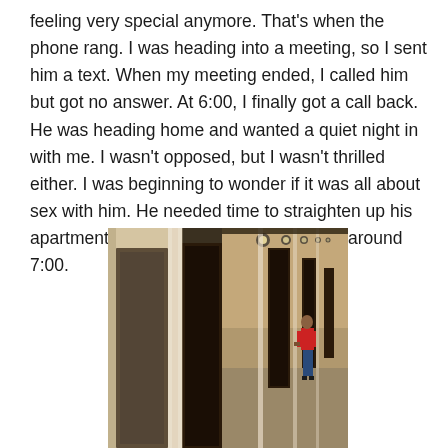feeling very special anymore. That's when the phone rang. I was heading into a meeting, so I sent him a text. When my meeting ended, I called him but got no answer. At 6:00, I finally got a call back. He was heading home and wanted a quiet night in with me. I wasn't opposed, but I wasn't thrilled either. I was beginning to wonder if it was all about sex with him. He needed time to straighten up his apartment, so I made my way over there around 7:00.
[Figure (photo): A photograph of a long apartment hallway with doors on both sides, overhead lights, and a person in a red shirt standing near one of the doors at the far end.]